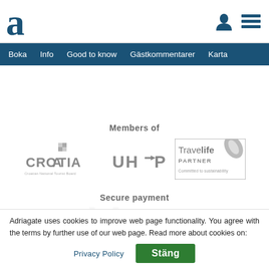[Figure (logo): Adriagate website header with large 'a' logo in dark blue, user icon and hamburger menu icon]
Boka   Info   Good to know   Gästkommentarer   Karta
Members of
[Figure (logo): Croatia National Tourist Board logo (grayscale)]
[Figure (logo): UHPA logo (grayscale)]
[Figure (logo): Travelife Partner - Committed to sustainability logo (grayscale)]
Secure payment
Adriagate uses cookies to improve web page functionality. You agree with the terms by further use of our web page. Read more about cookies on:
Privacy Policy
Stäng